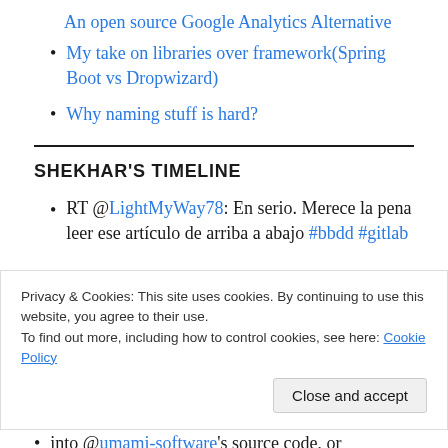An open source Google Analytics Alternative
My take on libraries over framework(Spring Boot vs Dropwizard)
Why naming stuff is hard?
SHEKHAR'S TIMELINE
RT @LightMyWay78: En serio. Merece la pena leer ese artículo de arriba a abajo #bbdd #gitlab
Privacy & Cookies: This site uses cookies. By continuing to use this website, you agree to their use.
To find out more, including how to control cookies, see here: Cookie Policy
into @umami-software's source code, or...